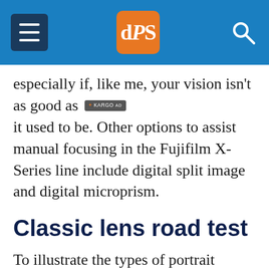dPS [logo]
especially if, like me, your vision isn't as good as it used to be. Other options to assist manual focusing in the Fujifilm X-Series line include digital split image and digital microprism.
Classic lens road test
To illustrate the types of portrait images you can take with vintage glass, I've used three different lenses for this article. I've used the Meyer Optik Gorlitz Oreston 50mm f1.8, the Pentax Super Takumar 50mm f1.4, and the Helios